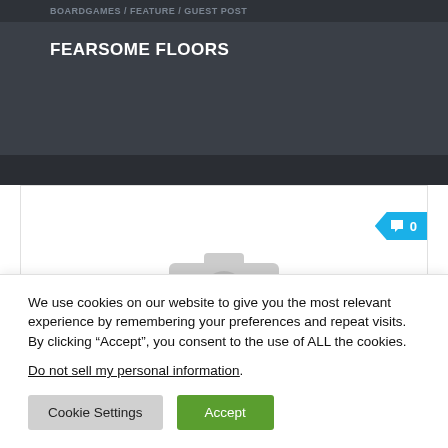BOARDGAMES / FEATURE / GUEST POST
FEARSOME FLOORS
[Figure (photo): Placeholder image thumbnail with camera icon in grey]
We use cookies on our website to give you the most relevant experience by remembering your preferences and repeat visits. By clicking “Accept”, you consent to the use of ALL the cookies.
Do not sell my personal information.